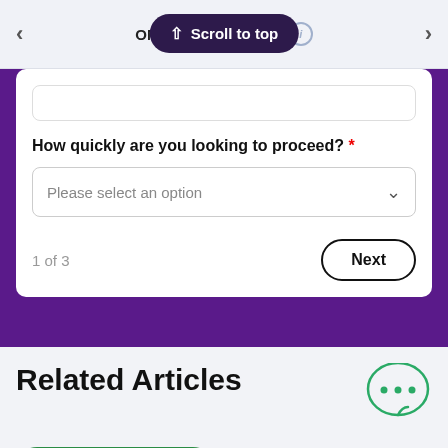OMA Mo... uarantee
Scroll to top
How quickly are you looking to proceed? *
Please select an option
1 of 3
Next
Related Articles
Get Started
0808 189 2301